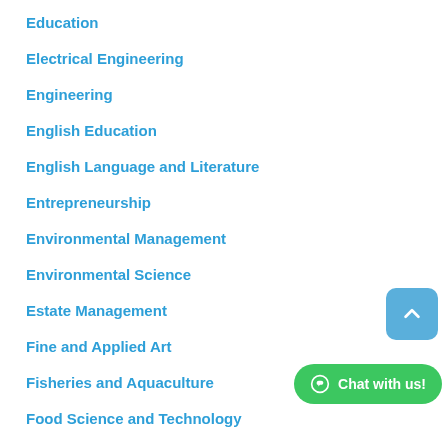Education
Electrical Engineering
Engineering
English Education
English Language and Literature
Entrepreneurship
Environmental Management
Environmental Science
Estate Management
Fine and Applied Art
Fisheries and Aquaculture
Food Science and Technology
Forestry and Wildlife Management